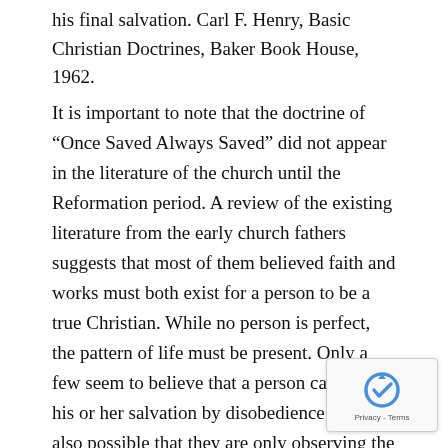his final salvation. Carl F. Henry, Basic Christian Doctrines, Baker Book House, 1962.
It is important to note that the doctrine of “Once Saved Always Saved” did not appear in the literature of the church until the Reformation period. A review of the existing literature from the early church fathers suggests that most of them believed faith and works must both exist for a person to be a true Christian. While no person is perfect, the pattern of life must be present. Only a few seem to believe that a person can lose his or her salvation by disobedience. But it is also possible that they are only observing the biblical truth stated in James 2:17 and 1 John 2:19.
What is most important is, “Does the Bible teach, ‘Once Saved Always Saved.?’” The opinion of the early church fathers does not constitute truth. The early church fathe…